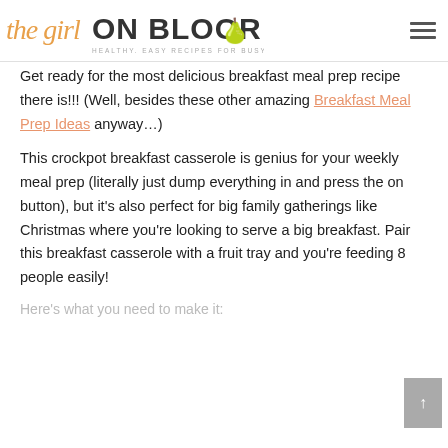the girl ON BLOOR – Healthy, Easy Recipes for Busy People!
Get ready for the most delicious breakfast meal prep recipe there is!!! (Well, besides these other amazing Breakfast Meal Prep Ideas anyway…)
This crockpot breakfast casserole is genius for your weekly meal prep (literally just dump everything in and press the on button), but it's also perfect for big family gatherings like Christmas where you're looking to serve a big breakfast. Pair this breakfast casserole with a fruit tray and you're feeding 8 people easily!
Here's what you need to make it: